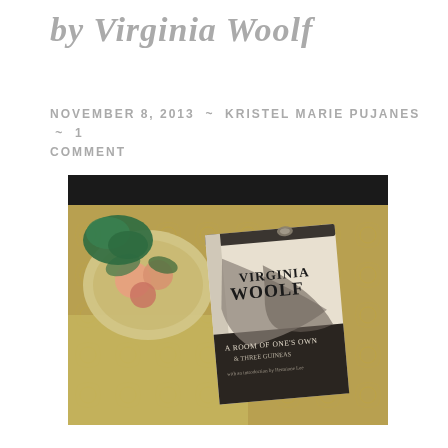by Virginia Woolf
November 8, 2013 ~ Kristel Marie Pujanes ~ 1 Comment
[Figure (photo): A photograph of the book 'A Room of One's Own & Three Guineas' by Virginia Woolf, placed on a decorative golden tablecloth next to a plate of flowers and a green ribbon]